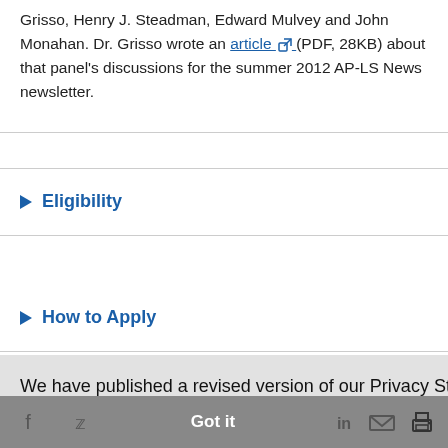Grisso, Henry J. Steadman, Edward Mulvey and John Monahan. Dr. Grisso wrote an article (PDF, 28KB) about that panel's discussions for the summer 2012 AP-LS News newsletter.
▶ Eligibility
▶ How to Apply
We have published a revised version of our Privacy Statement. Please read these updated terms and take some time to understand them. Learn more
Got it